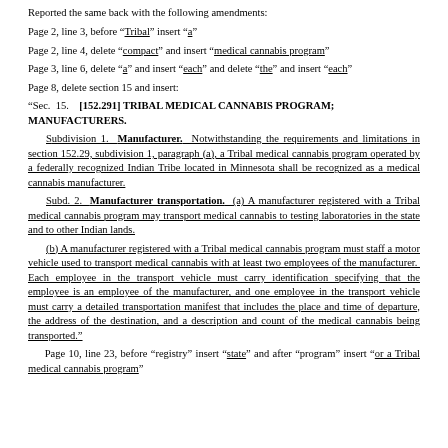Reported the same back with the following amendments:
Page 2, line 3, before "Tribal" insert "a"
Page 2, line 4, delete "compact" and insert "medical cannabis program"
Page 3, line 6, delete "a" and insert "each" and delete "the" and insert "each"
Page 8, delete section 15 and insert:
"Sec. 15. [152.291] TRIBAL MEDICAL CANNABIS PROGRAM; MANUFACTURERS.
Subdivision 1. Manufacturer. Notwithstanding the requirements and limitations in section 152.29, subdivision 1, paragraph (a), a Tribal medical cannabis program operated by a federally recognized Indian Tribe located in Minnesota shall be recognized as a medical cannabis manufacturer.
Subd. 2. Manufacturer transportation. (a) A manufacturer registered with a Tribal medical cannabis program may transport medical cannabis to testing laboratories in the state and to other Indian lands.
(b) A manufacturer registered with a Tribal medical cannabis program must staff a motor vehicle used to transport medical cannabis with at least two employees of the manufacturer. Each employee in the transport vehicle must carry identification specifying that the employee is an employee of the manufacturer, and one employee in the transport vehicle must carry a detailed transportation manifest that includes the place and time of departure, the address of the destination, and a description and count of the medical cannabis being transported."
Page 10, line 23, before "registry" insert "state" and after "program" insert "or a Tribal medical cannabis program"